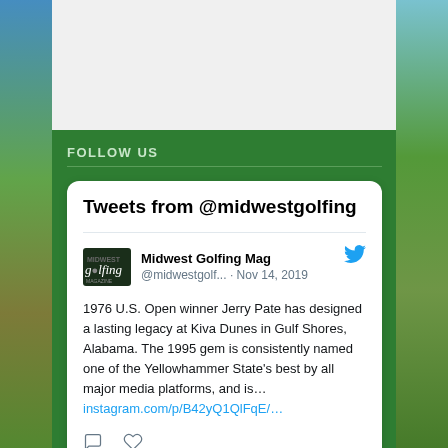[Figure (screenshot): Background landscape with golf course, sky, and green hills on left and right edges]
FOLLOW US
[Figure (screenshot): Embedded Twitter widget card showing tweets from @midwestgolfing. Contains tweet from Midwest Golfing Mag @midwestgolf... dated Nov 14, 2019 with text about 1976 U.S. Open winner Jerry Pate designing Kiva Dunes in Gulf Shores, Alabama, with a link to instagram.com/p/B42yQ1QlFqE/...]